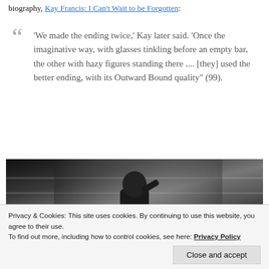biography, Kay Francis: I Can't Wait to be Forgotten:
"'We made the ending twice,' Kay later said. 'Once the imaginative way, with glasses tinkling before an empty bar, the other with hazy figures standing there .... [they] used the better ending, with its Outward Bound quality" (99).
[Figure (photo): Black and white photograph showing a person (likely a man) in what appears to be a bar or interior setting, with horizontal shelf lines visible in the background.]
Privacy & Cookies: This site uses cookies. By continuing to use this website, you agree to their use. To find out more, including how to control cookies, see here: Privacy Policy
Close and accept